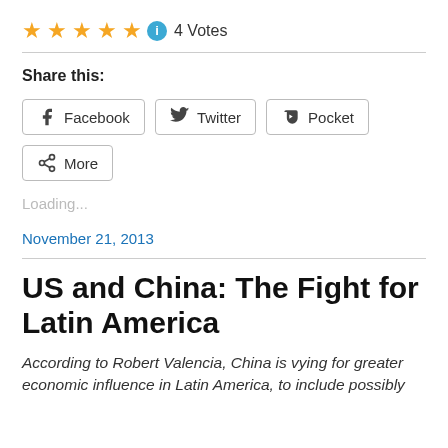[Figure (other): 5 gold stars rating with blue info icon and text '4 Votes']
Share this:
[Figure (other): Social share buttons: Facebook, Twitter, Pocket, More]
Loading...
November 21, 2013
US and China: The Fight for Latin America
According to Robert Valencia, China is vying for greater economic influence in Latin America, to include possibly